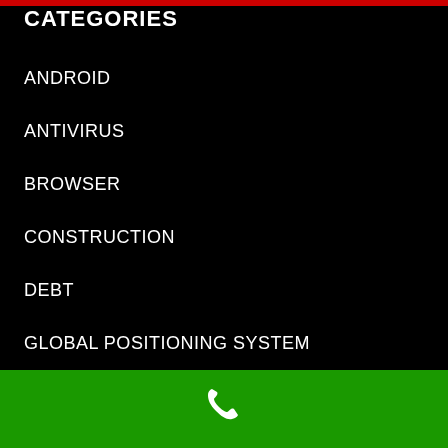CATEGORIES
ANDROID
ANTIVIRUS
BROWSER
CONSTRUCTION
DEBT
GLOBAL POSITIONING SYSTEM
GOOGLE
HOME IMPROVEMENT
LAW
[Figure (other): Green phone call button bar at the bottom with a white phone handset icon]